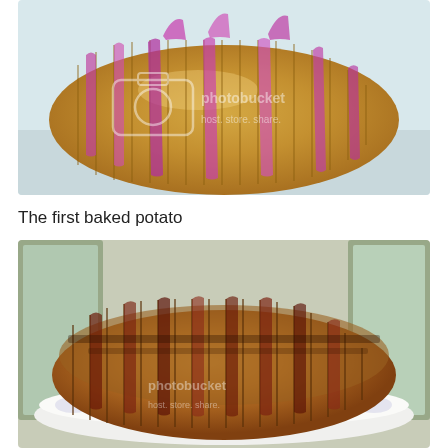[Figure (photo): A raw potato sliced accordion-style (hasselback) with thin slices of red/purple onion inserted between the cuts, viewed from above on a light surface. Has a Photobucket watermark.]
The first baked potato
[Figure (photo): A baked hasselback potato with bacon or meat pieces inserted between the slices, browned and charred from cooking, sitting on a white plate. Has a Photobucket watermark.]